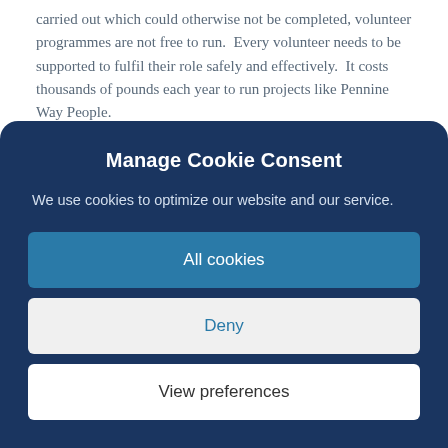carried out which could otherwise not be completed, volunteer programmes are not free to run.  Every volunteer needs to be supported to fulfil their role safely and effectively.  It costs thousands of pounds each year to run projects like Pennine Way People.
How you can help
If you would like to make a donation to help fund the ongoing work of the volunteers on the Pennine Way please follow this link: Donate to the Pennine
[Figure (screenshot): Cookie consent modal with dark blue background. Title: 'Manage Cookie Consent'. Description text: 'We use cookies to optimize our website and our service.' Three buttons: 'All cookies' (teal/blue filled), 'Deny' (light grey with blue text), 'View preferences' (white with dark text).]